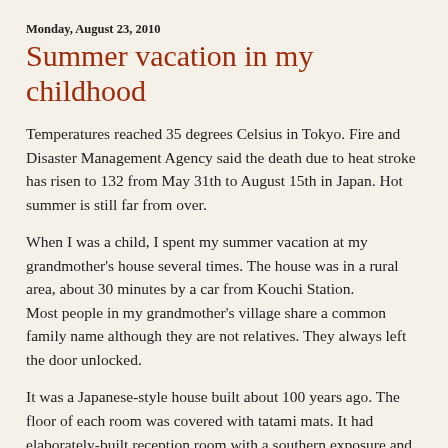Monday, August 23, 2010
Summer vacation in my childhood
Temperatures reached 35 degrees Celsius in Tokyo. Fire and Disaster Management Agency said the death due to heat stroke has risen to 132 from May 31th to August 15th in Japan. Hot summer is still far from over.
When I was a child, I spent my summer vacation at my grandmother's house several times. The house was in a rural area, about 30 minutes by a car from Kouchi Station.
Most people in my grandmother's village share a common family name although they are not relatives. They always left the door unlocked.
It was a Japanese-style house built about 100 years ago. The floor of each room was covered with tatami mats. It had elaborately-built reception room with a southern exposure and the room was usually used for welcoming guests. Its veranda-like porch called engawa was normally screened from the sun. It has also a small but well-mended Japanese garden.